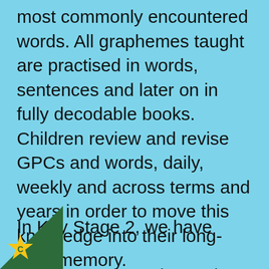most commonly encountered words. All graphemes taught are practised in words, sentences and later on in fully decodable books. Children review and revise GPCs and words, daily, weekly and across terms and years in order to move this knowledge into their long-term memory.
In Key Stage 2, we have clear systems, strategies and approaches